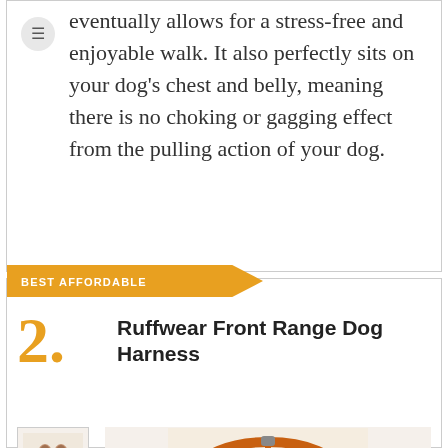eventually allows for a stress-free and enjoyable walk. It also perfectly sits on your dog's chest and belly, meaning there is no choking or gagging effect from the pulling action of your dog.
BEST AFFORDABLE
2. Ruffwear Front Range Dog Harness
[Figure (photo): Product images of the Ruffwear Front Range Dog Harness — a small thumbnail on the left and a larger image of the orange harness on the right]